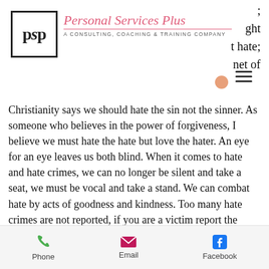[Figure (logo): PSP logo box with stylized letters and Personal Services Plus branding, A Consulting, Coaching & Training Company]
ght
t hate;
net of
Christianity says we should hate the sin not the sinner. As someone who believes in the power of forgiveness, I believe we must hate the hate but love the hater. An eye for an eye leaves us both blind. When it comes to hate and hate crimes, we can no longer be silent and take a seat, we must be vocal and take a stand. We can combat hate by acts of goodness and kindness. Too many hate crimes are not reported, if you are a victim report the incident.
Phone   Email   Facebook